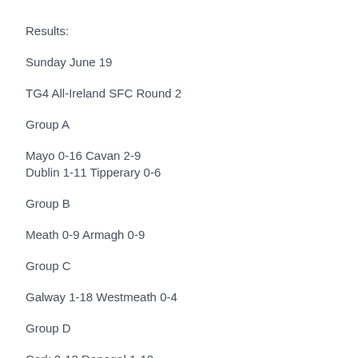Results:
Sunday June 19
TG4 All-Ireland SFC Round 2
Group A
Mayo 0-16 Cavan 2-9
Dublin 1-11 Tipperary 0-6
Group B
Meath 0-9 Armagh 0-9
Group C
Galway 1-18 Westmeath 0-4
Group D
Cork 2-12 Donegal 1-10
TG4 All-Ireland JFC
Group B – Round 2